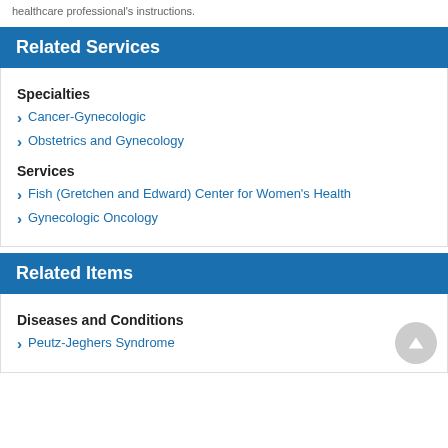healthcare professional's instructions.
Related Services
Specialties
Cancer-Gynecologic
Obstetrics and Gynecology
Services
Fish (Gretchen and Edward) Center for Women's Health
Gynecologic Oncology
Related Items
Diseases and Conditions
Peutz-Jeghers Syndrome